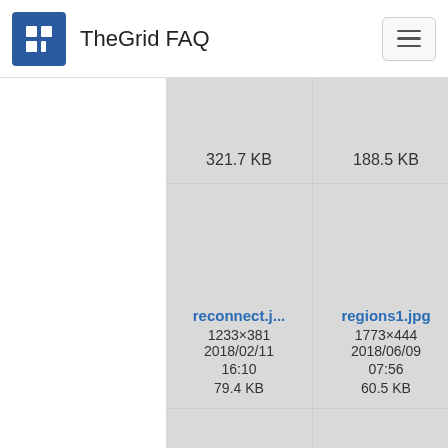TheGrid FAQ
[Figure (screenshot): File manager grid view showing image thumbnails with filenames, dimensions, dates, and file sizes. Row 1 (partial): 321.7 KB, 188.5 KB, 169.x KB. Row 2: reconnect.j... 1233x381 2018/02/11 16:10 79.4 KB; regions1.jpg 1773x444 2018/06/09 07:56 60.5 KB; re... 171.x KB (with context menu overlay). Row 3: three more partial thumbnail cards.]